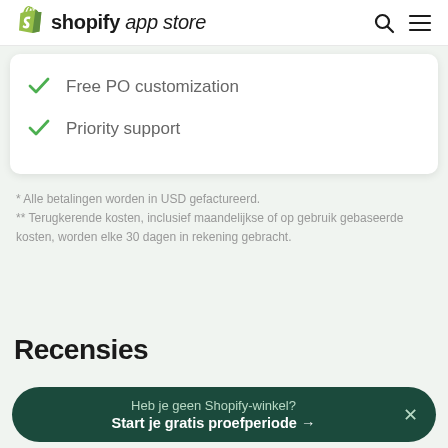shopify app store
Free PO customization
Priority support
* Alle betalingen worden in USD gefactureerd.
** Terugkerende kosten, inclusief maandelijkse of op gebruik gebaseerde kosten, worden elke 30 dagen in rekening gebracht.
Recensies
Heb je geen Shopify-winkel? Start je gratis proefperiode →